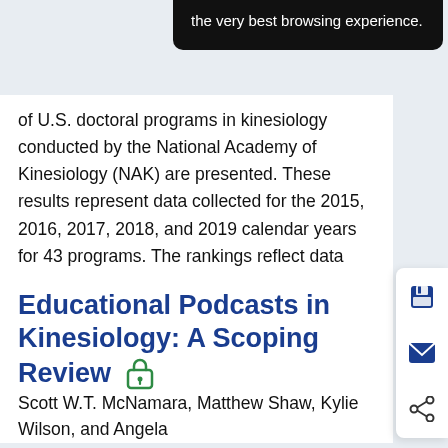the very best browsing experience.
of U.S. doctoral programs in kinesiology conducted by the National Academy of Kinesiology (NAK) are presented. These results represent data collected for the 2015, 2016, 2017, 2018, and 2019 calendar years for 43 programs. The rankings reflect data collect
... Show More
Educational Podcasts in Kinesiology: A Scoping Review
Scott W.T. McNamara, Matthew Shaw, Kylie Wilson, and Angela